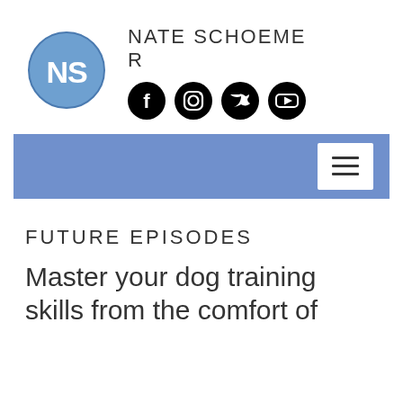[Figure (logo): NS logo: blue circle with white NS letters inside]
NATE SCHOEMER
[Figure (infographic): Social media icons: Facebook, Instagram, Twitter, YouTube — all black circles with white icons]
[Figure (infographic): Blue navigation bar with white hamburger menu button on the right]
FUTURE EPISODES
Master your dog training skills from the comfort of